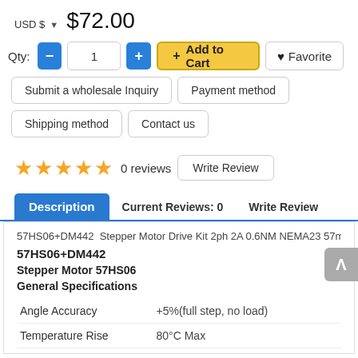USD $ ▾  $72.00
Qty: − 1 + Add to Cart ♥ Favorite
Submit a wholesale Inquiry | Payment method | Shipping method | Contact us
★★★★★ 0 reviews  Write Review
Description   Current Reviews: 0   Write Review
57HS06+DM442  Stepper Motor Drive Kit 2ph 2A 0.6NM NEMA23 57mm 1
57HS06+DM442
Stepper Motor 57HS06
General Specifications
|  |  |
| --- | --- |
| Angle Accuracy | +5%(full step, no load) |
| Temperature Rise | 80°C Max |